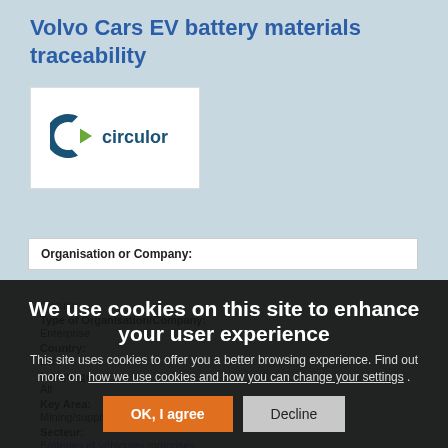Volvo Cars EV battery materials traceability
[Figure (logo): Circulor company logo — stylized 'C' with an arrow and the word 'circulor' in dark teal]
| Field | Value |
| --- | --- |
| Organisation or Company: | Circulor |
| Type of Organisation/Company: | Enterprise |
| Country: | EU |
| Language: | All |
| Key Area: | Mining/supply chain |
| Secteur: | Batteries et véhicules motorisés |
|  | Action circulaire globale |
| Scope: | International |
We use cookies on this site to enhance your user experience
This site uses cookies to offer you a better browsing experience. Find out more on how we use cookies and how you can change your settings.
OK, I agree
Decline